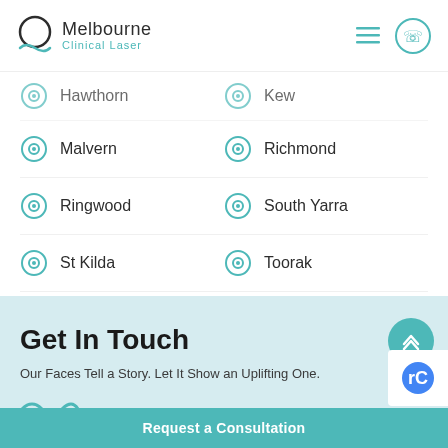[Figure (logo): Melbourne Clinical Laser logo with circle and teal wave]
Hawthorn | Kew
Malvern | Richmond
Ringwood | South Yarra
St Kilda | Toorak
Get In Touch
Our Faces Tell a Story. Let It Show an Uplifting One.
Request a Consultation